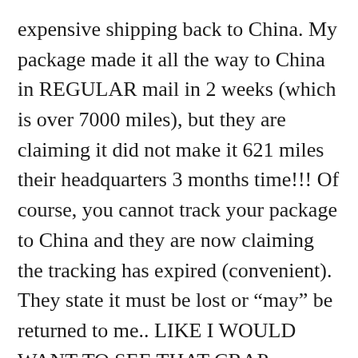expensive shipping back to China. My package made it all the way to China in REGULAR mail in 2 weeks (which is over 7000 miles), but they are claiming it did not make it 621 miles their headquarters 3 months time!!! Of course, you cannot track your package to China and they are now claiming the tracking has expired (convenient). They state it must be lost or “may” be returned to me.. LIKE I WOULD WANT TO SEE THAT CRAP AGAIN!
Bottom line, I don’t care how cute you think their stuff is, DO NOT USE THIS COMPANY!! It is a SCAM and you can find much better stuff out there from a company with more reputable